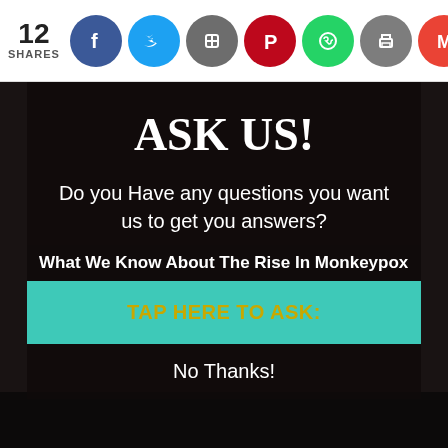12 SHARES
ASK US!
Do you Have any questions you want us to get you answers?
What We Know About The Rise In Monkeypox
TAP HERE TO ASK:
No Thanks!